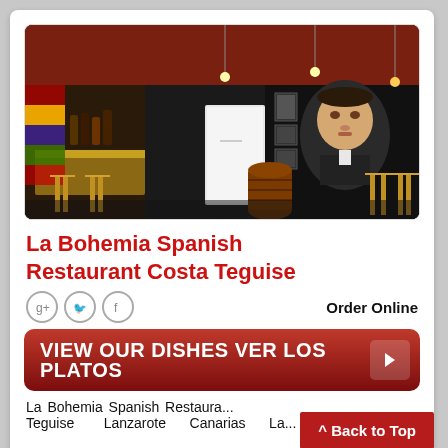[Figure (photo): Interior of La Bohemia Spanish Restaurant Costa Teguise showing bar area with wooden chairs, colorful decorations, and a large portrait mural on the dark wall]
La Bohemia Spanish Restaurant Costa Teguise
Order Online
VIEW OUR DISHES  VER LOS PLATOS  >
La Bohemia Spanish Restaura... Teguise    Lanzarote   Canarias   La...
^ Back to Top